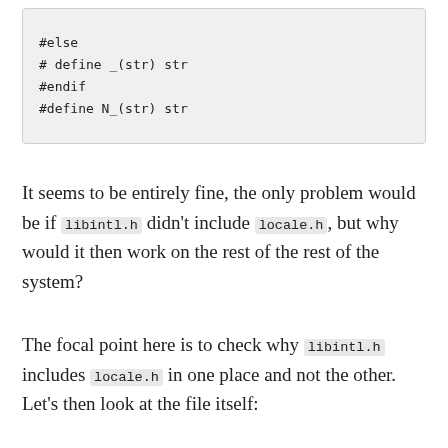[Figure (screenshot): Code block showing: #else, # define _(str) str, #endif, #define N_(str) str]
It seems to be entirely fine, the only problem would be if libintl.h didn't include locale.h, but why would it then work on the rest of the rest of the system?
The focal point here is to check why libintl.h includes locale.h in one place and not the other. Let's then look at the file itself:
[Figure (screenshot): Code block showing: /* Optimized version of the function above. */ #if defined __OPTIMIZE__ && !defined __cplusplus]